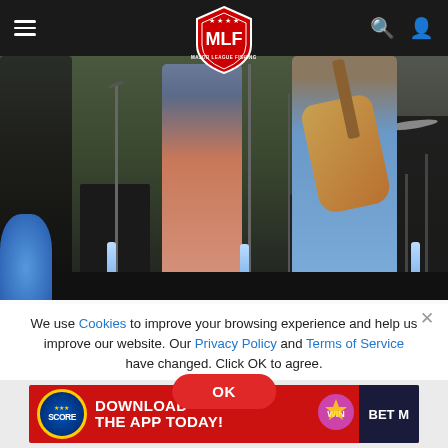[Figure (screenshot): MLF (Major League Fishing) website screenshot showing navigation bar with hamburger menu, MLF shield logo in center, search and user icons on right, over a concert/live music photo showing musicians on stage with guitars and microphones, followed by a cookie consent modal dialog and an advertisement banner at the bottom]
We use Cookies to improve your browsing experience and help us improve our website. Our Privacy Policy and Terms of Service have changed. Click OK to agree.
[Figure (other): OK button - red rounded pill button with white text]
[Figure (other): Advertisement banner: SCORE app - DOWNLOAD THE APP TODAY! WIN BET M]